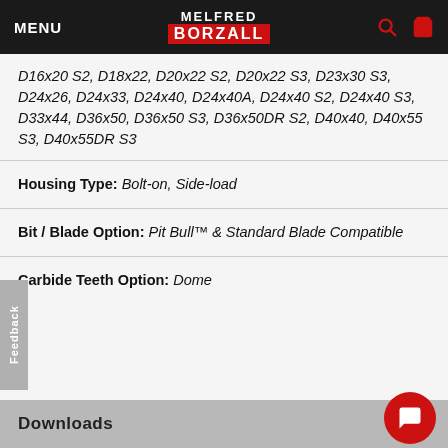MENU | MELFRED BORZALL
D16x20 S2, D18x22, D20x22 S2, D20x22 S3, D23x30 S3, D24x26, D24x33, D24x40, D24x40A, D24x40 S2, D24x40 S3, D33x44, D36x50, D36x50 S3, D36x50DR S2, D40x40, D40x55 S3, D40x55DR S3
Housing Type: Bolt-on, Side-load
Bit / Blade Option: Pit Bull™ & Standard Blade Compatible
Carbide Teeth Option: Dome
Downloads